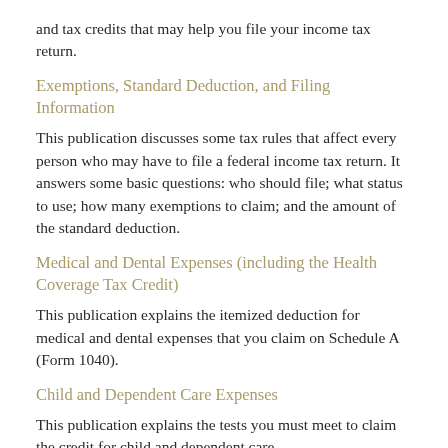and tax credits that may help you file your income tax return.
Exemptions, Standard Deduction, and Filing Information
This publication discusses some tax rules that affect every person who may have to file a federal income tax return. It answers some basic questions: who should file; what status to use; how many exemptions to claim; and the amount of the standard deduction.
Medical and Dental Expenses (including the Health Coverage Tax Credit)
This publication explains the itemized deduction for medical and dental expenses that you claim on Schedule A (Form 1040).
Child and Dependent Care Expenses
This publication explains the tests you must meet to claim the credit for child and dependent care